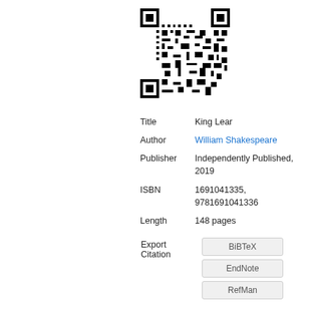[Figure (other): QR code for King Lear book listing]
| Title | King Lear |
| Author | William Shakespeare |
| Publisher | Independently Published, 2019 |
| ISBN | 1691041335, 9781691041336 |
| Length | 148 pages |
Export Citation
BiBTeX
EndNote
RefMan